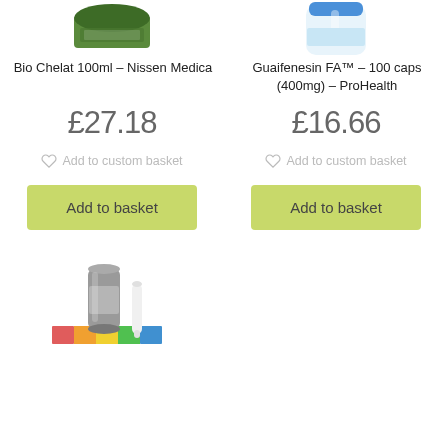[Figure (photo): Top partial view of Bio Chelat 100ml Nissen Medica green supplement jar]
[Figure (photo): Top partial view of Guaifenesin FA 100 caps 400mg ProHealth blue/white bottle]
Bio Chelat 100ml – Nissen Medica
Guaifenesin FA™ – 100 caps (400mg) – ProHealth
£27.18
£16.66
Add to custom basket
Add to custom basket
Add to basket
Add to basket
[Figure (photo): Test kit product with cylindrical container and small white tube on a multi-colored base tray]